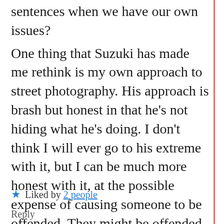sentences when we have our own issues? One thing that Suzuki has made me rethink is my own approach to street photography. His approach is brash but honest in that he's not hiding what he's doing. I don't think I will ever go to his extreme with it, but I can be much more honest with it, at the possible expense of causing someone to be offended. They might be offended, but only because they are aware. It's better that they are aware than unaware because I'm being secretive and sneaky.
Liked by 2 people
Reply